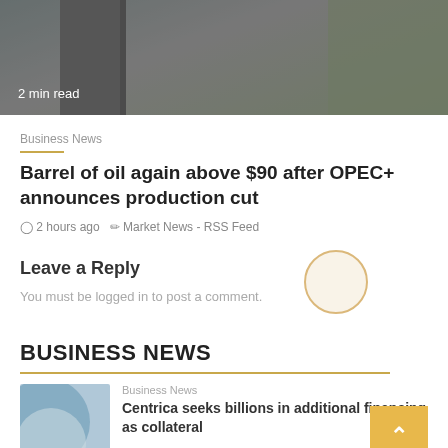[Figure (photo): Blurred photo of a man in a suit and tie with a background of greenery on the right side. Shows '2 min read' text overlay in white at the bottom left.]
Business News
Barrel of oil again above $90 after OPEC+ announces production cut
2 hours ago   Market News - RSS Feed
Leave a Reply
You must be logged in to post a comment.
BUSINESS NEWS
Business News
Centrica seeks billions in additional financing as collateral